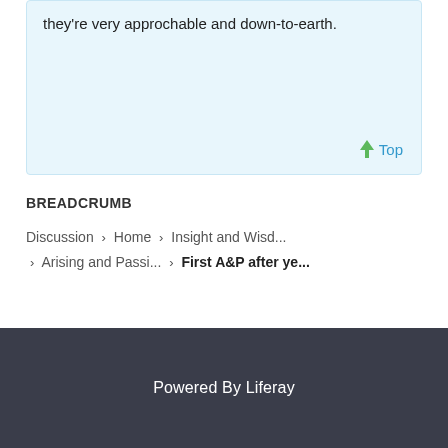they're very approchable and down-to-earth.
BREADCRUMB
Discussion > Home > Insight and Wisd... > Arising and Passi... > First A&P after ye...
Powered By Liferay